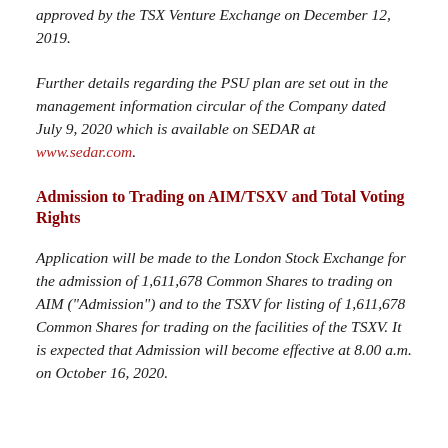approved by the TSX Venture Exchange on December 12, 2019.
Further details regarding the PSU plan are set out in the management information circular of the Company dated July 9, 2020 which is available on SEDAR at www.sedar.com.
Admission to Trading on AIM/TSXV and Total Voting Rights
Application will be made to the London Stock Exchange for the admission of 1,611,678 Common Shares to trading on AIM ("Admission") and to the TSXV for listing of 1,611,678 Common Shares for trading on the facilities of the TSXV. It is expected that Admission will become effective at 8.00 a.m. on October 16, 2020.